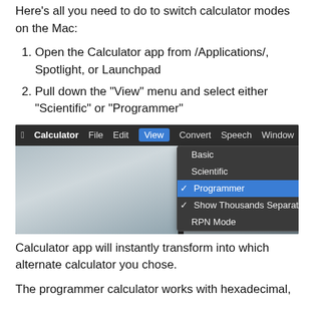Here's all you need to do to switch calculator modes on the Mac:
Open the Calculator app from /Applications/, Spotlight, or Launchpad
Pull down the “View” menu and select either “Scientific” or “Programmer”
[Figure (screenshot): Mac Calculator app menu bar with View menu open showing Basic (⌘1), Scientific (⌘2), Programmer (⌘3, checked/highlighted), Show Thousands Separators (checked), and RPN Mode (⌘R) options on a dark background.]
Calculator app will instantly transform into which alternate calculator you chose.
The programmer calculator works with hexadecimal,